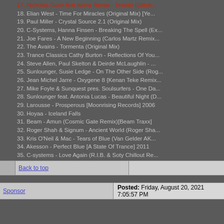17. Nicholas Gunn feat Aluna Renae - Broken (Glitch cut)
18. Elian West - Time For Miracles (Original Mix) [Ye...
19. Paul Miller - Crystal Source 2.1 (Original Mix)
20. C-Systems, Hanna Finsen - Breaking The Spell (Ex...
21. Joe Fares - A New Beginning (Carlos Martz Remix...
22. The Avains - Tormenta (Original Mix)
23. Trance Classics Cathy Burton - Reflections Of You...
24. Steve Allen, Paul Skelton & Deirde McLaughlin - ...
25. Sunlounger, Susie Ledge - On The Other Side (Rog...
26. Jean Michel Jarre - Oxygene 8 {Kenan Teke Remix...
27. Mike Foyle & Sunquest pres. Soulsurfers - One Da...
28. Sunlounger feat. Antonia Lucas - Beautiful Night (D...
29. Larousse - Prosperous [Moonrising Records] 2006
30. Hoyaa - Iceland Falls
31. Beam - Amun (Cosmic Gate Remix)[Beam Traxx]
32. Roger Shah & Signum - Ancient World (Roger Sha...
33. Kris O'Neil & Mac - Tears of Blue (Van Gelder AK...
34. Akesson - Perfect Blue [A State Of Trance] 2011
35. C-systems - Love Again (R.I.B. & Soty Chillout Re...
Back to top
Sponsor
Posted: Friday, August 20, 2021 7:05:57 PM
Back to top
Users browsing this topic